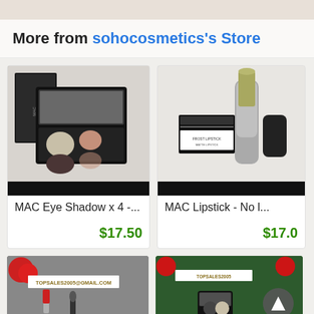More from sohocosmetics's Store
[Figure (photo): MAC Eye Shadow x 4 palette open showing four shades]
MAC Eye Shadow x 4 -...
$17.50
[Figure (photo): MAC Lipstick - No l... with lipstick and cap displayed]
MAC Lipstick - No l...
$17.0
[Figure (photo): MAC lipstick product with TOPSALES2005@GMAIL.COM label]
[Figure (photo): MAC cosmetics product on green background with TOPSALES2005 label and scroll button]